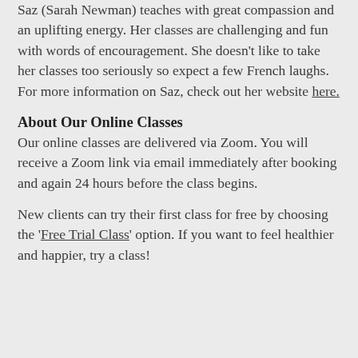Saz (Sarah Newman) teaches with great compassion and an uplifting energy. Her classes are challenging and fun with words of encouragement. She doesn't like to take her classes too seriously so expect a few French laughs. For more information on Saz, check out her website here.
About Our Online Classes
Our online classes are delivered via Zoom. You will receive a Zoom link via email immediately after booking and again 24 hours before the class begins.
New clients can try their first class for free by choosing the 'Free Trial Class' option. If you want to feel healthier and happier, try a class!